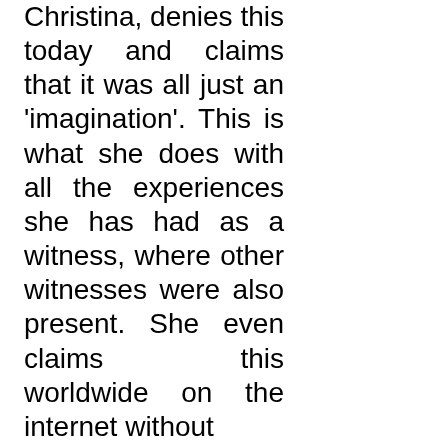Christina, denies this today and claims that it was all just an 'imagination'. This is what she does with all the experiences she has had as a witness, where other witnesses were also present. She even claims this worldwide on the internet without